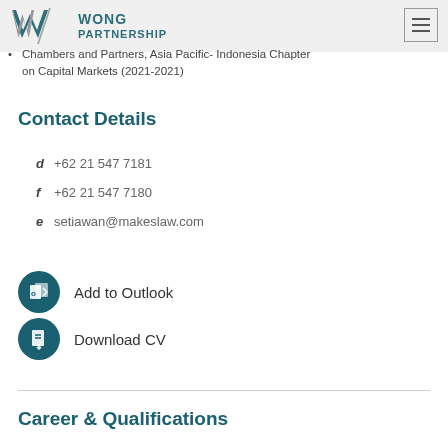Wong Partnership
Chambers and Partners, Asia Pacific- Indonesia Chapter on Capital Markets (2021-2021)
Contact Details
d  +62 21 547 7181
f  +62 21 547 7180
e  setiawan@makeslaw.com
Add to Outlook
Download CV
Career & Qualifications